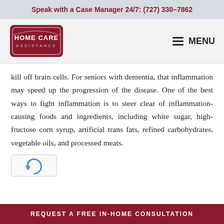Speak with a Case Manager 24/7: (727) 330-7862
[Figure (logo): Home Care Assistance logo: dark red shield/arch shape with text HOME CARE ASSISTANCE]
≡ MENU
kill off brain cells. For seniors with dementia, that inflammation may speed up the progression of the disease. One of the best ways to fight inflammation is to steer clear of inflammation-causing foods and ingredients, including white sugar, high-fructose corn syrup, artificial trans fats, refined carbohydrates, vegetable oils, and processed meats.
[Figure (logo): reCAPTCHA logo/widget partial]
REQUEST A FREE IN-HOME CONSULTATION